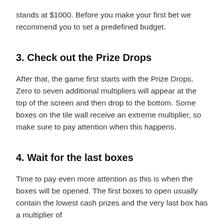stands at $1000. Before you make your first bet we recommend you to set a predefined budget.
3. Check out the Prize Drops
After that, the game first starts with the Prize Drops. Zero to seven additional multipliers will appear at the top of the screen and then drop to the bottom. Some boxes on the tile wall receive an extreme multiplier, so make sure to pay attention when this happens.
4. Wait for the last boxes
Time to pay even more attention as this is when the boxes will be opened. The first boxes to open usually contain the lowest cash prizes and the very last box has a multiplier of